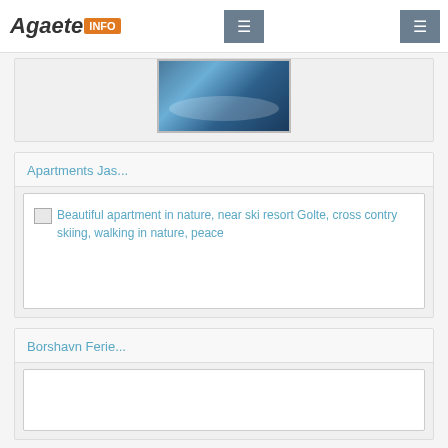Agaete INFO — navigation header with menu buttons
[Figure (photo): Aerial or overhead photo of a resort/pool area with blue tones, partially visible at top of page]
Apartments Jas...
[Figure (photo): Broken image placeholder with alt text: Beautiful apartment in nature, near ski resort Golte, cross contry skiing, walking in nature, peace]
Borshavn Ferie...
[Figure (photo): Empty image placeholder at bottom of page]